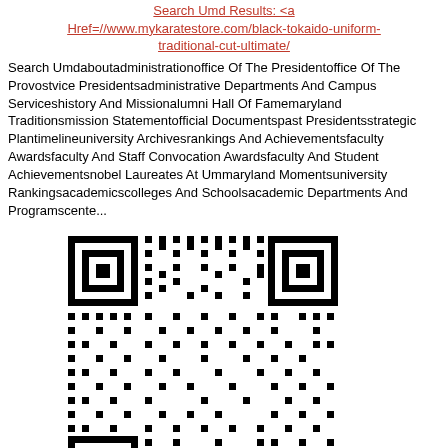Search Umd Results: <a Href=//www.mykaratestore.com/black-tokaido-uniform-traditional-cut-ultimate/
Search Umdaboutadministrationoffice Of The Presidentoffice Of The Provostvice Presidentsadministrative Departments And Campus Serviceshistory And Missionalumni Hall Of Famemaryland Traditionsmission Statementofficial Documentspast Presidentsstrategic Plantimelineuniversity Archivesrankings And Achievementsfaculty Awardsfaculty And Staff Convocation Awardsfaculty And Student Achievementsnobel Laureates At Ummaryland Momentsuniversity Rankingsacademicscolleges And Schoolsacademic Departments And Programscente...
[Figure (other): QR code image]
Recollector Forum - Profile Of Daniel07787qs
Searchmember Listcalendarhelpcurrent Time: 11-21-2018, 01:05 Amhello There, Guest! (login — Register)recollector Forum / Profile Of Daniel07787qsdaniel07787qs(newbie)registration Date: 02-13-2018date Of Birth: Not Specified Local Time: 11-21-2018 At 01:05 Amstatus: Offlinedaniel07787qs's Forum Infojoined:02-13-2018last Visit:02-13-2018 05:21 Pmtotal Posts:0 (0 Posts Per Day | 0 Percent Of Total Posts)(find All Threads — Find All Posts)time Spent Online:20 Minutes, 6 Secondsmembers Referred:0repu...